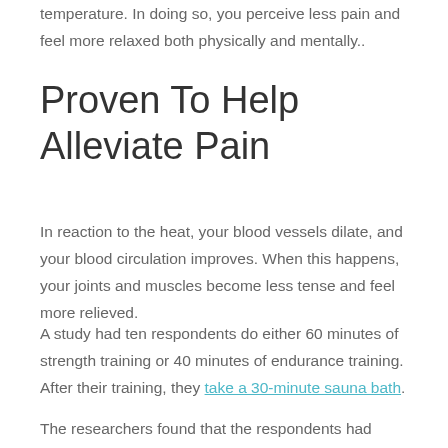temperature. In doing so, you perceive less pain and feel more relaxed both physically and mentally..
Proven To Help Alleviate Pain
In reaction to the heat, your blood vessels dilate, and your blood circulation improves. When this happens, your joints and muscles become less tense and feel more relieved.
A study had ten respondents do either 60 minutes of strength training or 40 minutes of endurance training. After their training, they take a 30-minute sauna bath.
The researchers found that the respondents had